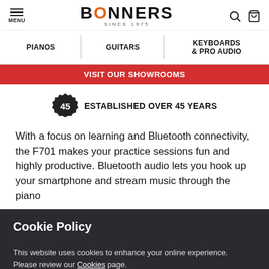BONNERS SINCE 1975 — MENU
PIANOS | GUITARS | KEYBOARDS & PRO AUDIO
VISIT OUR SHOWROOMS
45 ESTABLISHED OVER 45 YEARS
With a focus on learning and Bluetooth connectivity, the F701 makes your practice sessions fun and highly productive. Bluetooth audio lets you hook up your smartphone and stream music through the piano
Cookie Policy
This website uses cookies to enhance your online experience. Please review our Cookies page.
OK   Message